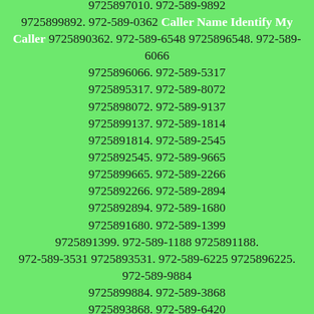9725898935. 972-589-5559 9725895559. 972-589-3482 9725893482. 972-589-7010 9725897010. 972-589-9892 9725899892. 972-589-0362 Caller Name Identify My Caller 9725890362. 972-589-6548 9725896548. 972-589-6066 9725896066. 972-589-5317 9725895317. 972-589-8072 9725898072. 972-589-9137 9725899137. 972-589-1814 9725891814. 972-589-2545 9725892545. 972-589-9665 9725899665. 972-589-2266 9725892266. 972-589-2894 9725892894. 972-589-1680 9725891680. 972-589-1399 9725891399. 972-589-1188 9725891188. 972-589-3531 9725893531. 972-589-6225 9725896225. 972-589-9884 9725899884. 972-589-3868 9725893868. 972-589-6420 9725896420. 972-589-1574 9725891574. 972-589-9031 9725899031. 972-589-8530